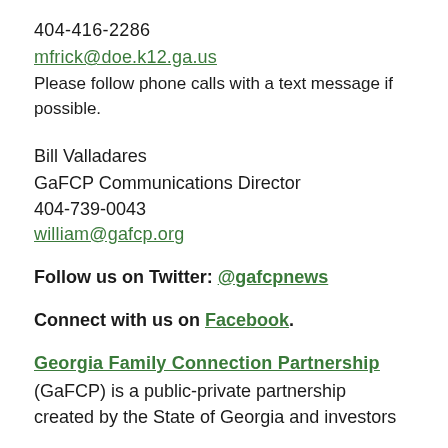404-416-2286
mfrick@doe.k12.ga.us
Please follow phone calls with a text message if possible.
Bill Valladares
GaFCP Communications Director
404-739-0043
william@gafcp.org
Follow us on Twitter: @gafcpnews
Connect with us on Facebook.
Georgia Family Connection Partnership
(GaFCP) is a public-private partnership created by the State of Georgia and investors